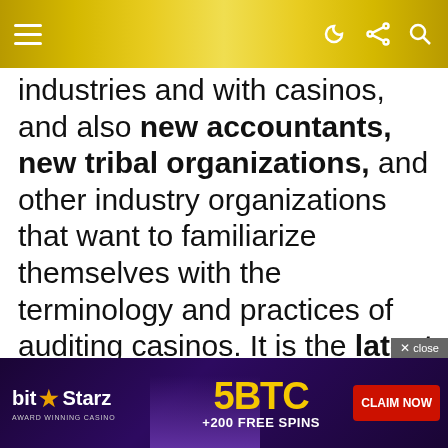Navigation bar with hamburger menu and icons
industries and with casinos, and also new accountants, new tribal organizations, and other industry organizations that want to familiarize themselves with the terminology and practices of auditing casinos. It is the latest seminar in ICGR's Financial Track of executive education opportunities.
[Figure (other): BitStarz advertisement banner: 'bit★Starz AWARD WINNING CASINO — 5BTC +200 FREE SPINS — CLAIM NOW' with dark purple background and themed imagery]